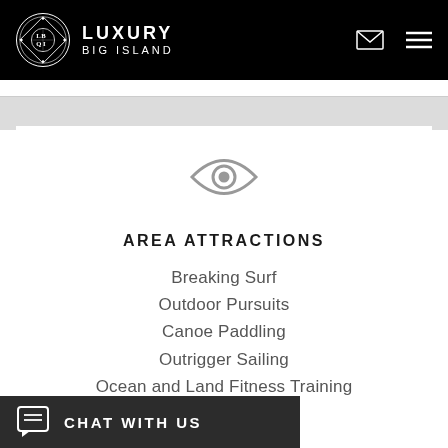LUXURY BIG ISLAND
[Figure (logo): Luxury Big Island circular crest logo with L, B, I letters and decorative border]
AREA ATTRACTIONS
Breaking Surf
Outdoor Pursuits
Canoe Paddling
Outrigger Sailing
Ocean and Land Fitness Training
Hiking Expeditions
Spa
CHAT WITH US